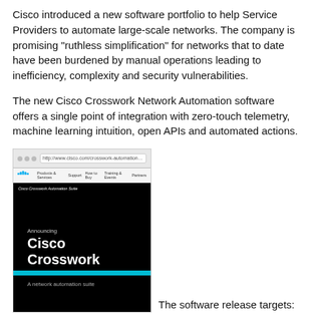Cisco introduced a new software portfolio to help Service Providers to automate large-scale networks. The company is promising "ruthless simplification" for networks that to date have been burdened by manual operations leading to inefficiency, complexity and security vulnerabilities.
The new Cisco Crosswork Network Automation software offers a single point of integration with zero-touch telemetry, machine learning intuition, open APIs and automated actions.
[Figure (screenshot): Browser screenshot showing the Cisco website with a black splash page announcing 'Cisco Crosswork - A network automation suite' with a cyan horizontal bar.]
The software release targets: